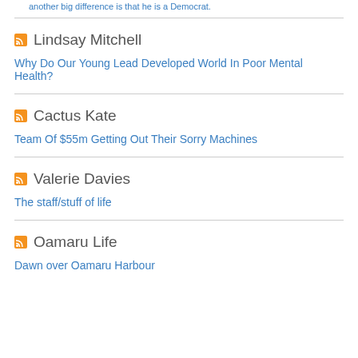another big difference is that he is a Democrat.
Lindsay Mitchell
Why Do Our Young Lead Developed World In Poor Mental Health?
Cactus Kate
Team Of $55m Getting Out Their Sorry Machines
Valerie Davies
The staff/stuff of life
Oamaru Life
Dawn over Oamaru Harbour